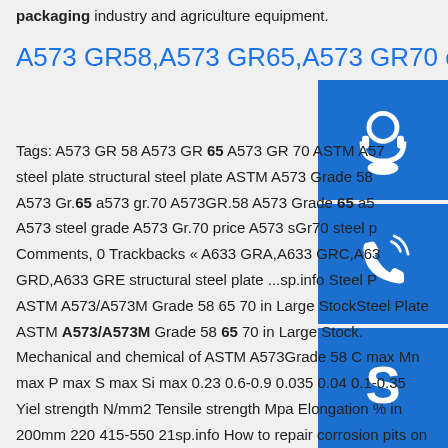packaging industry and agriculture equipment.
A573 GR58,A573 GR65,A573 GR70 carbon structural steel ...
Tags: A573 GR 58 A573 GR 65 A573 GR 70 ASTM A573 steel plate structural steel plate ASTM A573 Grade 58 A573 Gr.65 a573 gr.70 A573GR.58 A573 Grade 65 a573 A573 steel grade A573 Gr.70 price A573 sGr70 steel plate 0 Comments, 0 Trackbacks « A633 GRA,A633 GRC,A633 GRD,A633 GRE structural steel plate ...sp.info Steel Plate ASTM A573/A573M Grade 58 65 70 in Large StockSteel Plate ASTM A573/A573M Grade 58 65 70 in Large Stock. Mechanical and chemical of ASTM A573Grade 58 C max Mn max P max S max Si max 0.23 0.6-0.9 0.035 0.04 0.1-0.35 Yiel strength N/mm2 Tensile strength Mpa Elongation % in 200mm 220 415-550 21sp.info How to repair corrosion pits on